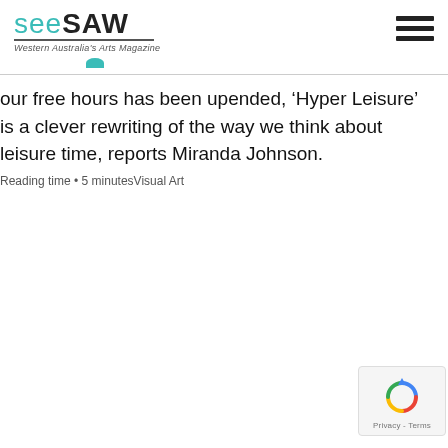[Figure (logo): Seesaw magazine logo with teal 'see' and dark 'SAW' text, tagline 'Western Australia's Arts Magazine', decorative underline and teal semicircle, plus hamburger menu icon]
our free hours has been upended, ‘Hyper Leisure’ is a clever rewriting of the way we think about leisure time, reports Miranda Johnson.
Reading time • 5 minutesVisual Art